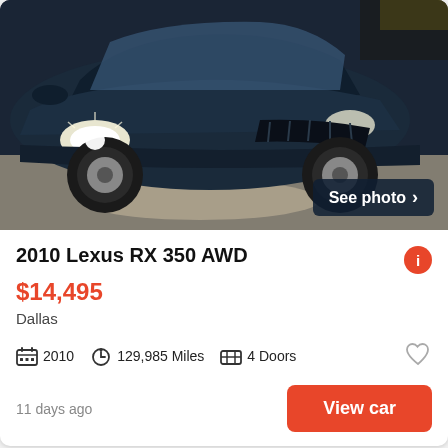[Figure (photo): Front view of a dark blue/black 2010 Lexus RX 350 AWD SUV photographed in a parking lot. A 'See photo >' button overlay appears in the bottom right corner of the image.]
2010 Lexus RX 350 AWD
$14,495
Dallas
2010  129,985 Miles  4 Doors
11 days ago
View car
[Figure (photo): Partial view of a dark red/maroon SUV in a parking area, partially cropped at the bottom of the page.]